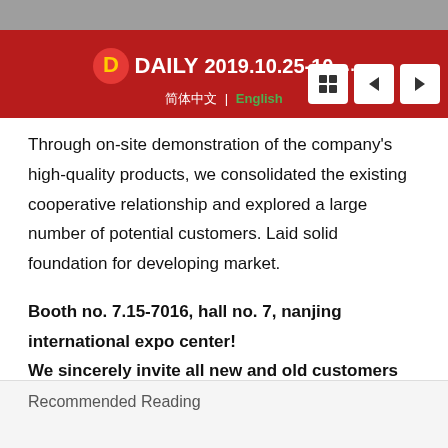[Figure (screenshot): Red banner with DAILY logo, date 2019.10.25-10... and navigation buttons (grid, left arrow, right arrow). Language selector showing Chinese characters | English. Gray strip at top.]
Through on-site demonstration of the company's high-quality products, we consolidated the existing cooperative relationship and explored a large number of potential customers. Laid solid foundation for developing market.
Booth no. 7.15-7016, hall no. 7, nanjing international expo center! We sincerely invite all new and old customers and people in the industry to visit and exchange ideas.
Recommended Reading